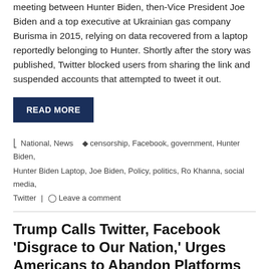meeting between Hunter Biden, then-Vice President Joe Biden and a top executive at Ukrainian gas company Burisma in 2015, relying on data recovered from a laptop reportedly belonging to Hunter. Shortly after the story was published, Twitter blocked users from sharing the link and suspended accounts that attempted to tweet it out.
READ MORE
National, News  censorship, Facebook, government, Hunter Biden, Hunter Biden Laptop, Joe Biden, Policy, politics, Ro Khanna, social media, Twitter  Leave a comment
Trump Calls Twitter, Facebook 'Disgrace to Our Nation,' Urges Americans to Abandon Platforms
January 5, 2022   Michigan Star Staff
Former President Donald Trump, who is